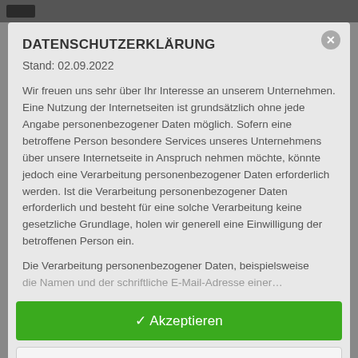DATENSCHUTZERKLÄRUNG
Stand: 02.09.2022
Wir freuen uns sehr über Ihr Interesse an unserem Unternehmen. Eine Nutzung der Internetseiten ist grundsätzlich ohne jede Angabe personenbezogener Daten möglich. Sofern eine betroffene Person besondere Services unseres Unternehmens über unsere Internetseite in Anspruch nehmen möchte, könnte jedoch eine Verarbeitung personenbezogener Daten erforderlich werden. Ist die Verarbeitung personenbezogener Daten erforderlich und besteht für eine solche Verarbeitung keine gesetzliche Grundlage, holen wir generell eine Einwilligung der betroffenen Person ein.
Die Verarbeitung personenbezogener Daten, beispielsweise …
✓ Akzeptieren
Personalisieren